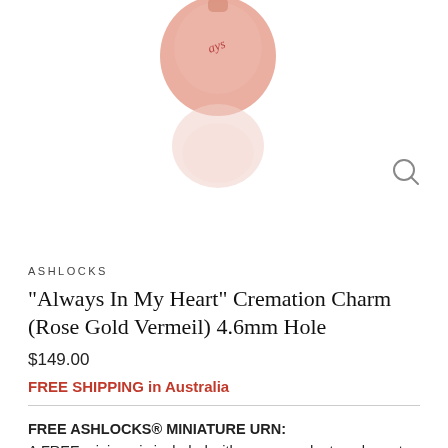[Figure (photo): A rose gold heart-shaped cremation charm bead with cursive text, shown above its reflection/shadow on white background. A magnifying glass icon and chevron down icon are visible in the lower-right area of the image.]
ASHLOCKS
"Always In My Heart" Cremation Charm (Rose Gold Vermeil) 4.6mm Hole
$149.00
FREE SHIPPING in Australia
FREE ASHLOCKS® MINIATURE URN:
A FREE mini urn is included with every pendant or charm to keep some ashes or hair safely aside. Please pick your colour preference. Note: Colour & style may be subject to availability.